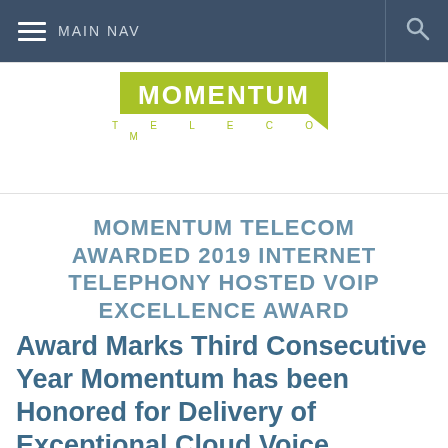MAIN NAV
[Figure (logo): Momentum Telecom logo — green rectangle with white bold MOMENTUM text and a downward speech-bubble tail, with TELECOM in spaced green letters below]
MOMENTUM TELECOM AWARDED 2019 INTERNET TELEPHONY HOSTED VOIP EXCELLENCE AWARD
Award Marks Third Consecutive Year Momentum has been Honored for Delivery of Exceptional Cloud Voice Solutions